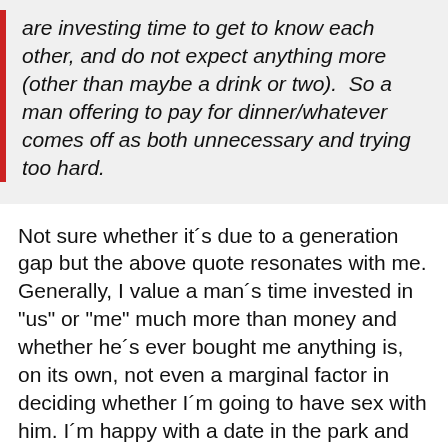are investing time to get to know each other, and do not expect anything more (other than maybe a drink or two).  So a man offering to pay for dinner/whatever comes off as both unnecessary and trying too hard.
Not sure whether it´s due to a generation gap but the above quote resonates with me. Generally, I value a man´s time invested in "us" or "me" much more than money and whether he´s ever bought me anything is, on its own, not even a marginal factor in deciding whether I´m going to have sex with him. I´m happy with a date in the park and talking. And careful not to give